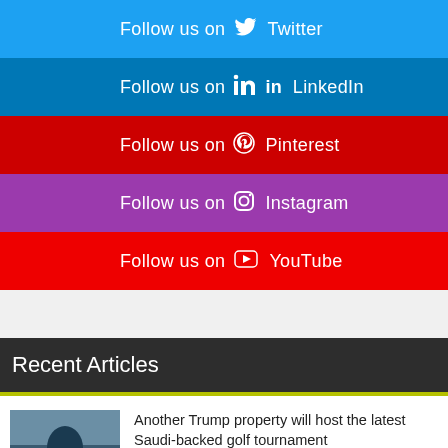Follow us on Twitter
Follow us on LinkedIn
Follow us on Pinterest
Follow us on Instagram
Follow us on YouTube
Recent Articles
Another Trump property will host the latest Saudi-backed golf tournament
McIlroy rallies to win third FedEx Cup title, $18M